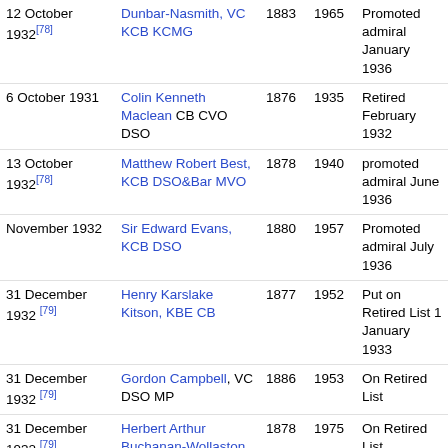| Date | Name | Born | Died | Notes |
| --- | --- | --- | --- | --- |
| 12 October 1932[78] | Dunbar-Nasmith, VC KCB KCMG | 1883 | 1965 | Promoted admiral January 1936 |
| 6 October 1931 | Colin Kenneth Maclean CB CVO DSO | 1876 | 1935 | Retired February 1932 |
| 13 October 1932[78] | Matthew Robert Best, KCB DSO&Bar MVO | 1878 | 1940 | promoted admiral June 1936 |
| November 1932 | Sir Edward Evans, KCB DSO | 1880 | 1957 | Promoted admiral July 1936 |
| 31 December 1932 [79] | Henry Karslake Kitson, KBE CB | 1877 | 1952 | Put on Retired List 1 January 1933 |
| 31 December 1932 [79] | Gordon Campbell, VC DSO MP | 1886 | 1953 | On Retired List |
| 31 December 1932 [79] | Herbert Arthur Buchanan-Wollaston, CMG | 1878 | 1975 | On Retired List |
| 31 December 1932 [79] | Norton Allen Sulivan, CVO | 1897 | 1964 | On Retired List |